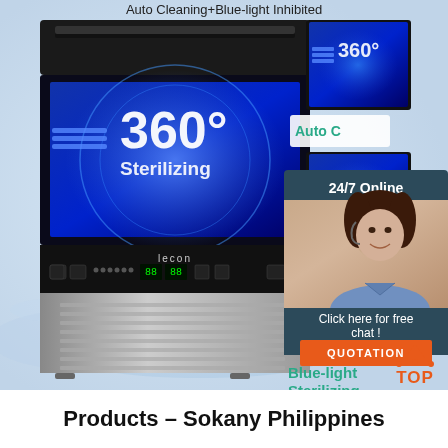[Figure (photo): Product advertisement image showing a Lecon commercial ice maker machine with 360° Sterilizing blue-light display, water splash effect, smaller product images on right side with blue sterilizing glow, and a customer service chat overlay showing a female agent with headset, 24/7 Online text, Click here for free chat text, and QUOTATION button. Also shows Auto C(leaning) and Blue-light Sterilizing labels. TOP navigation icon in orange at bottom right.]
Products – Sokany Philippines